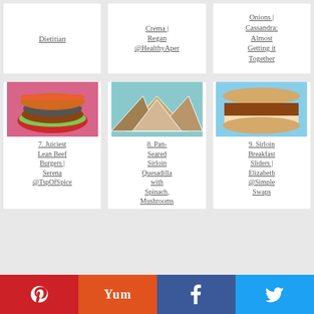Dietitian
Crema | Regan @HealthyAper
Onions | Cassandra: Almost Getting it Together
[Figure (photo): Juiciest lean beef burger on a bun with lettuce and tomato on pink background]
7. Juiciest Lean Beef Burgers | Serena @TspOfSpice
[Figure (photo): Pan-seared sirloin quesadilla triangles on a blue plate]
8. Pan-Seared Sirloin Quesadilla with Spinach, Mushrooms
[Figure (photo): Sirloin breakfast slider sandwich on an English muffin]
9. Sirloin Breakfast Sliders | Elizabeth @Simple Swaps